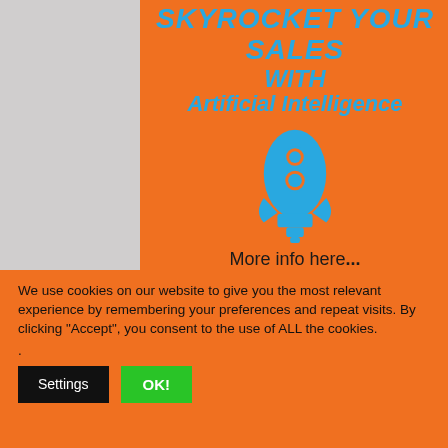[Figure (illustration): Orange background panel with bold italic cyan/blue text reading 'SKYROCKET YOUR SALES WITH Artificial Intelligence' and a blue rocket ship icon below, followed by 'More info here...' in dark text]
We use cookies on our website to give you the most relevant experience by remembering your preferences and repeat visits. By clicking “Accept”, you consent to the use of ALL the cookies.
.
Settings
OK!